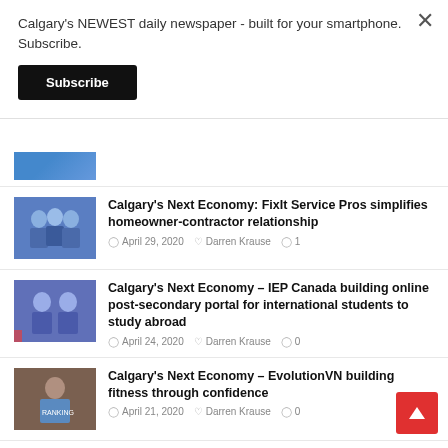Calgary's NEWEST daily newspaper - built for your smartphone. Subscribe.
Subscribe
Calgary’s Next Economy: FixIt Service Pros simplifies homeowner-contractor relationship
April 29, 2020   Darren Krause   1
Calgary’s Next Economy – IEP Canada building online post-secondary portal for international students to study abroad
April 24, 2020   Darren Krause   0
Calgary’s Next Economy – EvolutionVN building fitness through confidence
April 21, 2020   Darren Krause   0